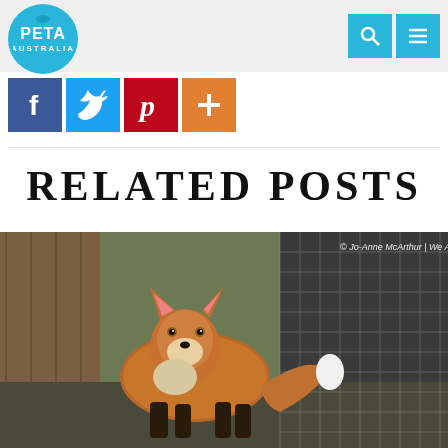PETA Australia
[Figure (logo): PETA Australia circular logo in light blue with white text and small animal silhouette]
[Figure (infographic): Social share buttons: Facebook (blue), Twitter (light blue), Pinterest (red), Google+ (orange)]
RELATED POSTS
[Figure (photo): A fox in a wire cage enclosure, looking at the camera. Photo credit: © Jo-Anne McArthur | We Animals]